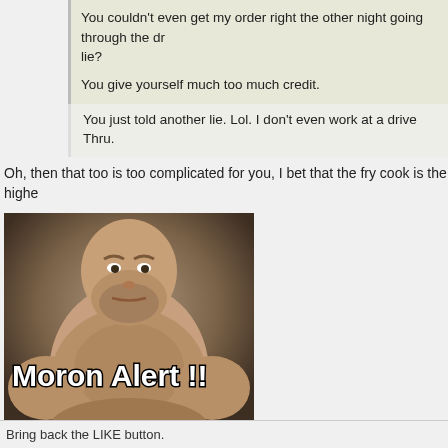You couldn't even get my order right the other night going through the dr lie?
You give yourself much too much credit.
You just told another lie. Lol. I don't even work at a drive Thru.
Oh, then that too is too complicated for you, I bet that the fry cook is the highe
[Figure (photo): A meme image of a shirtless heavyset man with text 'Moron Alert !!' overlaid in large white Impact font with black outline.]
Bring back the LIKE button.